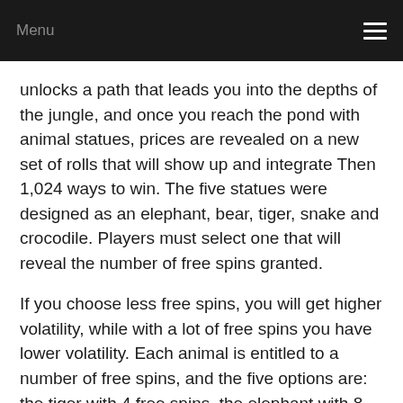Menu
unlocks a path that leads you into the depths of the jungle, and once you reach the pond with animal statues, prices are revealed on a new set of rolls that will show up and integrate Then 1,024 ways to win. The five statues were designed as an elephant, bear, tiger, snake and crocodile. Players must select one that will reveal the number of free spins granted.
If you choose less free spins, you will get higher volatility, while with a lot of free spins you have lower volatility. Each animal is entitled to a number of free spins, and the five options are: the tiger with 4 free spins, the elephant with 8 free spins, 12 Crocodile that grants 16 free spins and the cobra that gives 20 spins.